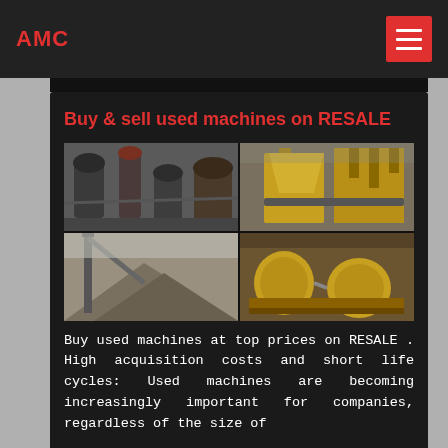AMC
Buy & sell used machines on RESALE
[Figure (photo): Four-panel grid of used industrial mining and crushing machines: top-left shows indoor grey grinding mills, top-right shows outdoor yellow heavy-duty conveyor and crushing equipment, bottom-left shows outdoor mining site with conveyors and aggregate piles, bottom-right shows large yellow industrial ball mill drums.]
Buy used machines at top prices on RESALE . High acquisition costs and short life cycles: Used machines are becoming increasingly important for companies, regardless of the size of